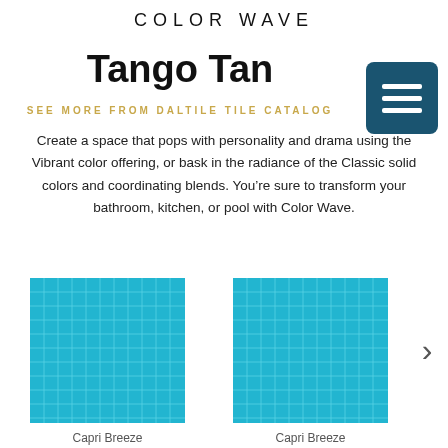COLOR WAVE
Tango Tan
SEE MORE FROM DALTILE TILE CATALOG
Create a space that pops with personality and drama using the Vibrant color offering, or bask in the radiance of the Classic solid colors and coordinating blends. You’re sure to transform your bathroom, kitchen, or pool with Color Wave.
[Figure (photo): Teal/turquoise tile swatch grid labeled Capri Breeze (left)]
Capri Breeze
[Figure (photo): Teal/turquoise tile swatch grid labeled Capri Breeze (right)]
Capri Breeze